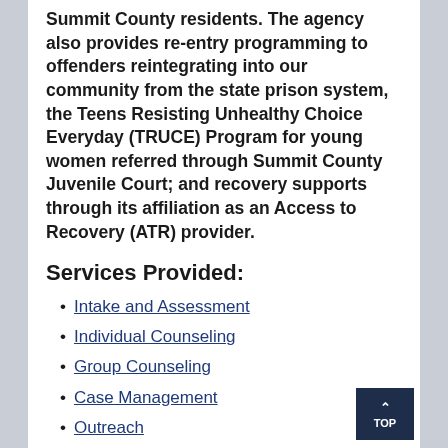Summit County residents. The agency also provides re-entry programming to offenders reintegrating into our community from the state prison system, the Teens Resisting Unhealthy Choice Everyday (TRUCE) Program for young women referred through Summit County Juvenile Court; and recovery supports through its affiliation as an Access to Recovery (ATR) provider.
Services Provided:
Intake and Assessment
Individual Counseling
Group Counseling
Case Management
Outreach